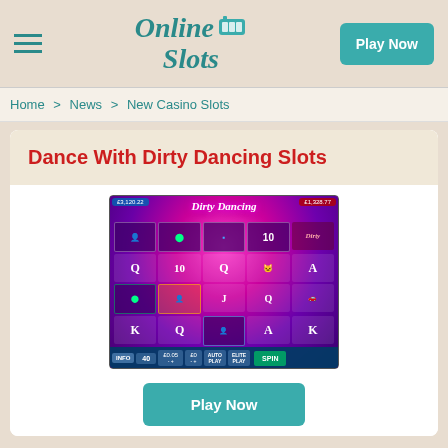Online Slots — Play Now
Home > News > New Casino Slots
Dance With Dirty Dancing Slots
[Figure (screenshot): Dirty Dancing slot game screenshot showing reels with playing card symbols (Q, K, A, 10, J), character symbols, green vinyl record, and control buttons including SPIN, with a pink/purple background and the Dirty Dancing logo at top.]
Play Now